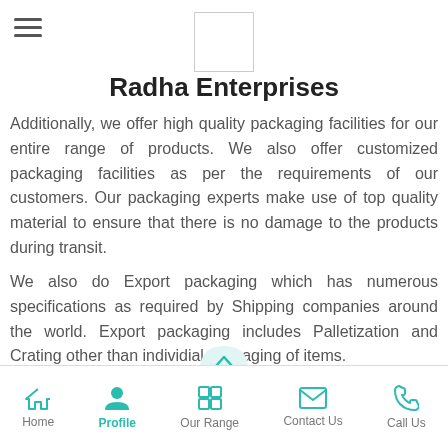Radha Enterprises — header with hamburger menu and logo
Radha Enterprises
Additionally, we offer high quality packaging facilities for our entire range of products. We also offer customized packaging facilities as per the requirements of our customers. Our packaging experts make use of top quality material to ensure that there is no damage to the products during transit.
We also do Export packaging which has numerous specifications as required by Shipping companies around the world. Export packaging includes Palletization and Crating other than individial packaging of items.
Home | Profile | Our Range | Contact Us | Call Us